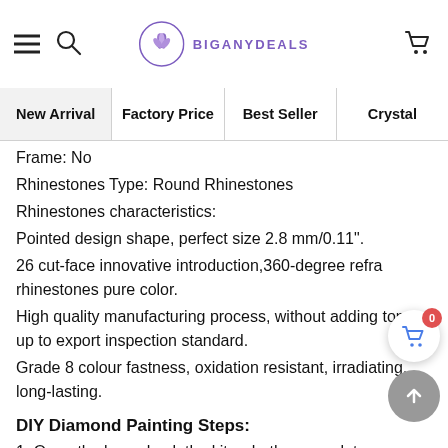BIGANYDEALS — Navigation header with hamburger menu, search, logo, and cart
New Arrival | Factory Price | Best Seller | Crystal
Frame: No
Rhinestones Type: Round Rhinestones
Rhinestones characteristics:
Pointed design shape, perfect size 2.8 mm/0.11".
26 cut-face innovative introduction,360-degree refra… rhinestones pure color.
High quality manufacturing process, without adding toner, up to export inspection standard.
Grade 8 colour fastness, oxidation resistant, irradiating, long-lasting.
DIY Diamond Painting Steps:
1. Open the box, check the kits whether complete.
2. According to the color code, choose a color into the plate;If you paste the same color at the same time, you can